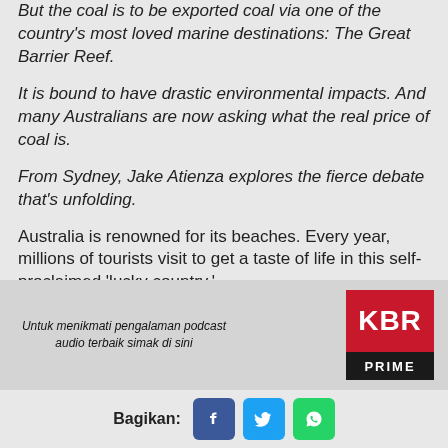But the coal is to be exported coal via one of the country's most loved marine destinations: The Great Barrier Reef.
It is bound to have drastic environmental impacts. And many Australians are now asking what the real price of coal is.
From Sydney, Jake Atienza explores the fierce debate that's unfolding.
Australia is renowned for its beaches. Every year, millions of tourists visit to get a taste of life in this self-proclaimed 'lucky country.'
Untuk menikmati pengalaman podcast audio terbaik simak di sini
[Figure (logo): KBR PRIME logo - red square with white KBR text, black bar with white PRIME text]
Bagikan:
[Figure (other): Social share buttons: Facebook (blue), Twitter (light blue), WhatsApp (green)]